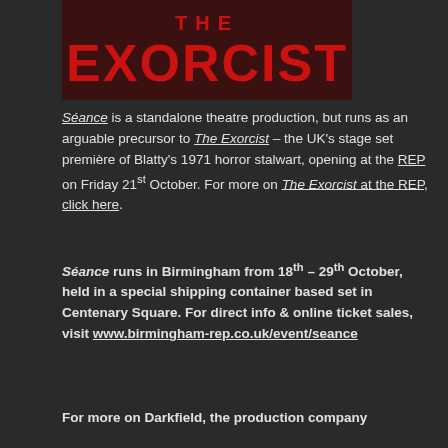[Figure (illustration): The Exorcist movie/theatre poster showing 'THE EXORCIST' text in large red letters on a dark burgundy/black background]
Séance is a standalone theatre production, but runs as an arguable precursor to The Exorcist – the UK's stage set première of Blatty's 1971 horror stalwart, opening at the REP on Friday 21st October. For more on The Exorcist at the REP, click here.
Séance runs in Birmingham from 18th – 29th October, held in a special shipping container based set in Centenary Square. For direct info & online ticket sales, visit www.birmingham-rep.co.uk/event/seance
For more on Darkfield, the production company